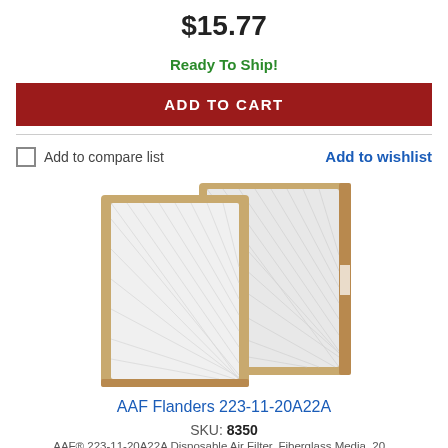$15.77
Ready To Ship!
ADD TO CART
Add to compare list
Add to wishlist
[Figure (photo): Two AAF Flanders fiberglass air filters with tan/brown cardboard frames, shown at a slight angle side by side.]
AAF Flanders 223-11-20A22A
SKU: 8350
AAF® 223-11-20A22A Disposable Air Filter, Fiberglass Media, 20...